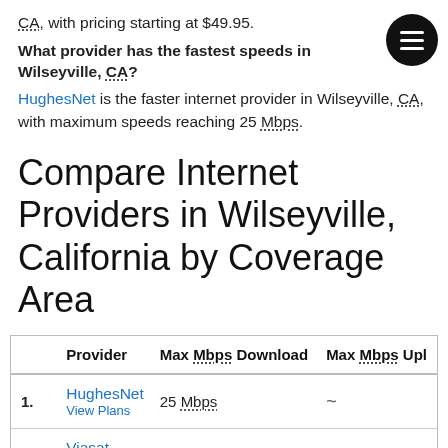CA, with pricing starting at $49.95.
What provider has the fastest speeds in Wilseyville, CA?
HughesNet is the faster internet provider in Wilseyville, CA, with maximum speeds reaching 25 Mbps.
Compare Internet Providers in Wilseyville, California by Coverage Area
|  | Provider | Max Mbps Download | Max Mbps Upl |
| --- | --- | --- | --- |
| 1. | HughesNet
View Plans | 25 Mbps | ~ |
| 2. | Viasat
View Plans | 150 Mbps | ~ |